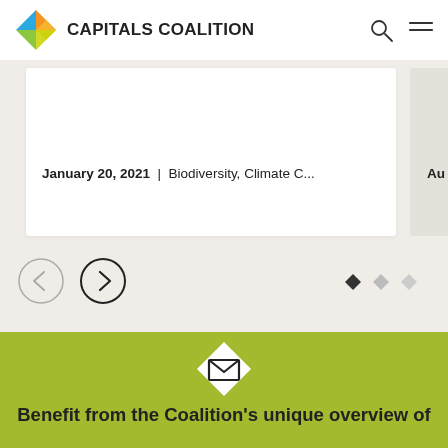[Figure (logo): Capitals Coalition logo: diamond shape with blue, orange, yellow, green quadrants, followed by bold text CAPITALS COALITION]
[Figure (screenshot): Card showing date January 20, 2021 | Biodiversity, Climate C... with partial right card showing Au, carousel navigation arrows (left inactive, right active), and three diamond-shaped dots (first filled dark, second and third lighter)]
[Figure (infographic): Green olive background section with a white diamond shape containing an envelope/email icon, and bold title text: Benefit from the Coalition's unique overview of]